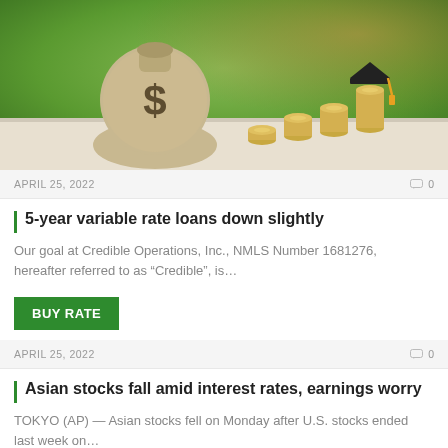[Figure (photo): Photo of a burlap money bag with a dollar sign and stacks of coins with a graduation cap on top, against a blurry green background.]
APRIL 25, 2022
0
5-year variable rate loans down slightly
Our goal at Credible Operations, Inc., NMLS Number 1681276, hereafter referred to as “Credible”, is…
BUY RATE
APRIL 25, 2022
0
Asian stocks fall amid interest rates, earnings worry
TOKYO (AP) — Asian stocks fell on Monday after U.S. stocks ended last week on…